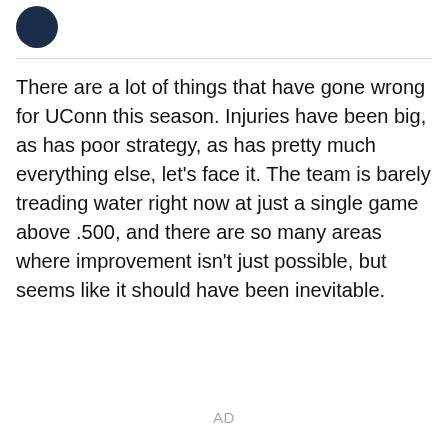[Figure (illustration): Dark navy circular avatar icon in the top left corner]
There are a lot of things that have gone wrong for UConn this season. Injuries have been big, as has poor strategy, as has pretty much everything else, let’s face it. The team is barely treading water right now at just a single game above .500, and there are so many areas where improvement isn’t just possible, but seems like it should have been inevitable.
AD